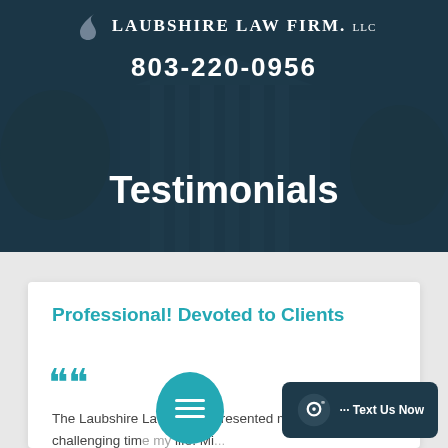LAUBSHIRE LAW FIRM. LLC
803-220-0956
Testimonials
Professional! Devoted to Clients
The Laubshire Law Firm represented me in the most challenging time of my life. Mi... encouraged me, and assured me they would work